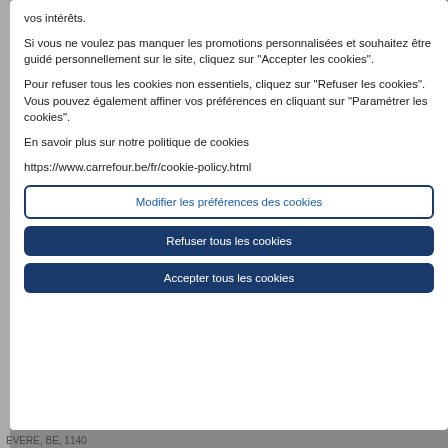vos intérêts.
Si vous ne voulez pas manquer les promotions personnalisées et souhaitez être guidé personnellement sur le site, cliquez sur "Accepter les cookies".
Pour refuser tous les cookies non essentiels, cliquez sur "Refuser les cookies". Vous pouvez également affiner vos préférences en cliquant sur "Paramétrer les cookies".
En savoir plus sur notre politique de cookies
https://www.carrefour.be/fr/cookie-policy.html
Modifier les préférences des cookies
Refuser tous les cookies
Accepter tous les cookies
EVERE, BE, 1140